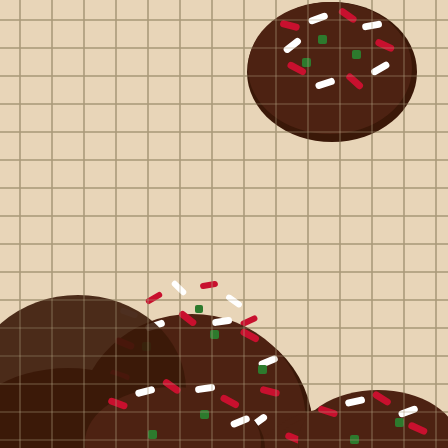[Figure (photo): Overhead view of chocolate cookies with red, white, and green Christmas sprinkles cooling on a wire rack. Five to six round dark chocolate cookies are visible, decorated with festive holiday sprinkles in red, white, and green. The wire cooling rack has a grid pattern and rests on a light beige/cream surface.]